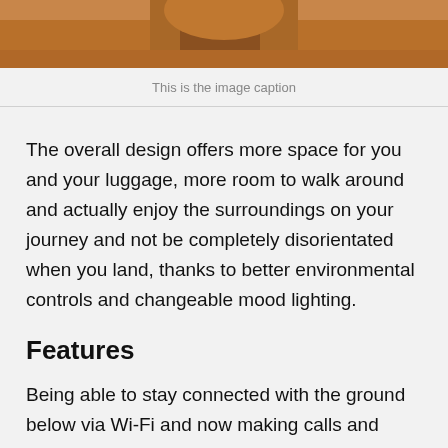[Figure (photo): Partial photo of a person wearing a brown suede jacket, cropped at the top of the page]
This is the image caption
The overall design offers more space for you and your luggage, more room to walk around and actually enjoy the surroundings on your journey and not be completely disorientated when you land, thanks to better environmental controls and changeable mood lighting.
Features
Being able to stay connected with the ground below via Wi-Fi and now making calls and texts from 35,000 ft